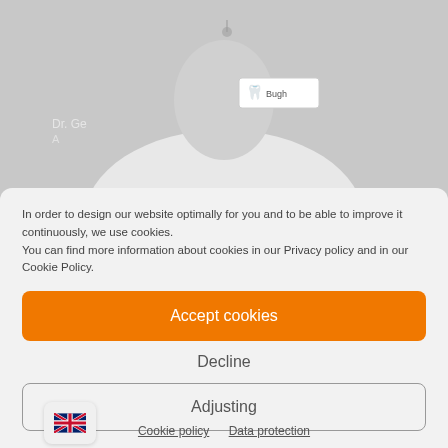[Figure (photo): Black and white photo of a person in a white coat/medical uniform with a name badge showing a tooth logo and 'Ugh' text, and a pendant necklace visible. Watermark text 'Dr. Ge...' visible on the left side.]
In order to design our website optimally for you and to be able to improve it continuously, we use cookies.
You can find more information about cookies in our Privacy policy and in our Cookie Policy.
Accept cookies
Decline
Adjusting
Cookie policy   Data protection